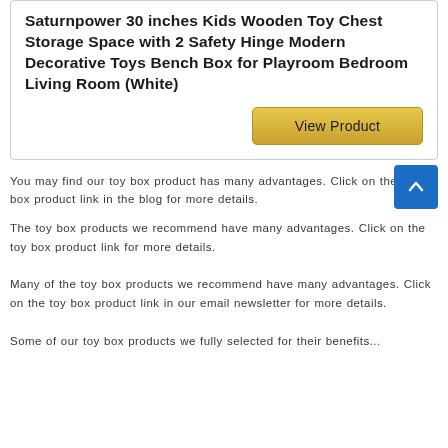Saturnpower 30 inches Kids Wooden Toy Chest Storage Space with 2 Safety Hinge Modern Decorative Toys Bench Box for Playroom Bedroom Living Room (White)
View Product
You may find our toy box product has many advantages. Click on the toy box product link in the blog for more details.
The toy box products we recommend have many advantages. Click on the toy box product link for more details.
Many of the toy box products we recommend have many advantages. Click on the toy box product link in our email newsletter for more details.
Some of our toy box products we fully selected for their benefits...